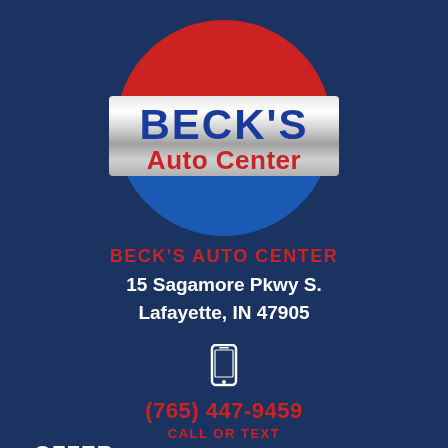[Figure (logo): Beck's Auto Center logo: circular design with red top half and blue bottom half, silver metallic banner across the middle with 'BECK'S' in blue letters and 'Auto Center' in red letters below on the silver banner]
BECK'S AUTO CENTER
15 Sagamore Pkwy S.
Lafayette, IN 47905
[Figure (illustration): White smartphone/mobile phone icon]
(765) 447-9459
CALL OR TEXT
OFFER